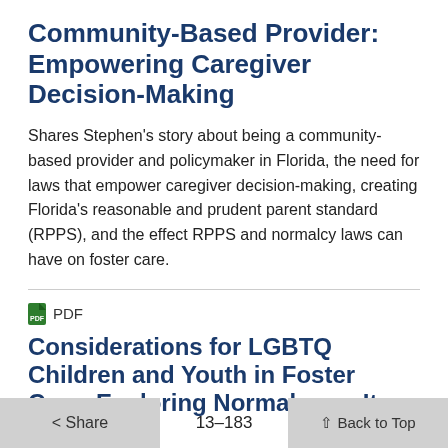Community-Based Provider: Empowering Caregiver Decision-Making
Shares Stephen's story about being a community-based provider and policymaker in Florida, the need for laws that empower caregiver decision-making, creating Florida's reasonable and prudent parent standard (RPPS), and the effect RPPS and normalcy laws can have on foster care.
PDF
Considerations for LGBTQ Children and Youth in Foster Care: Exploring Normalcy as It Relates 13–183
< Share   13–183   ↑ Back to Top